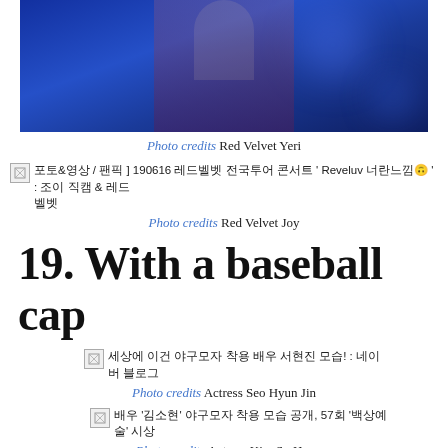[Figure (photo): A person with long hair and red lipstick performing on stage with blue bokeh background lighting]
Photo credits Red Velvet Yeri
[Figure (photo): Broken image thumbnail with Korean text about Reveluv event 190616]
Photo credits Red Velvet Joy
19. With a baseball cap
[Figure (photo): Broken image thumbnail with Korean text about actress Seo Hyun Jin]
Photo credits Actress Seo Hyun Jin
[Figure (photo): Broken image thumbnail with Korean text about actress Kim So Hyun, 57th event]
Photo credits Actress Kim So H...